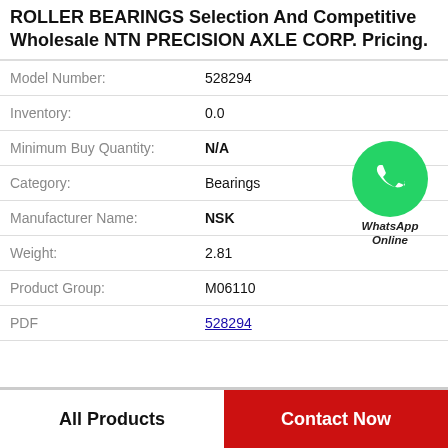ROLLER BEARINGS Selection And Competitive Wholesale NTN PRECISION AXLE CORP. Pricing.
| Field | Value |
| --- | --- |
| Model Number: | 528294 |
| Inventory: | 0.0 |
| Minimum Buy Quantity: | N/A |
| Category: | Bearings |
| Manufacturer Name: | NSK |
| Weight: | 2.81 |
| Product Group: | M06110 |
| PDF | 528294 |
[Figure (logo): WhatsApp Online green circle icon with phone handset, labeled WhatsApp Online]
All Products
Contact Now